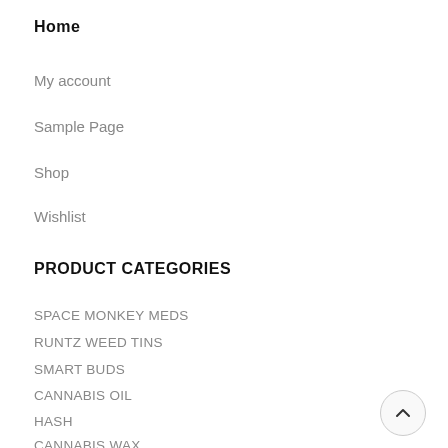Home
My account
Sample Page
Shop
Wishlist
PRODUCT CATEGORIES
SPACE MONKEY MEDS
RUNTZ WEED TINS
SMART BUDS
CANNABIS OIL
HASH
CANNABIS WAX